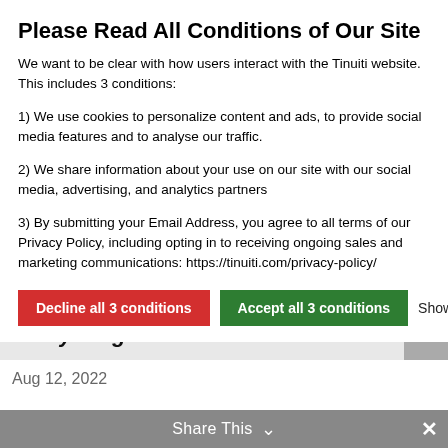Please Read All Conditions of Our Site
We want to be clear with how users interact with the Tinuiti website. This includes 3 conditions:
1) We use cookies to personalize content and ads, to provide social media features and to analyse our traffic.
2) We share information about your use on our site with our social media, advertising, and analytics partners
3) By submitting your Email Address, you agree to all terms of our Privacy Policy, including opting in to receiving ongoing sales and marketing communications: https://tinuiti.com/privacy-policy/
Decline all 3 conditions | Accept all 3 conditions | Show details
Aug 12, 2022
Explore Our Categories
SELECT CATEGORY
Share This